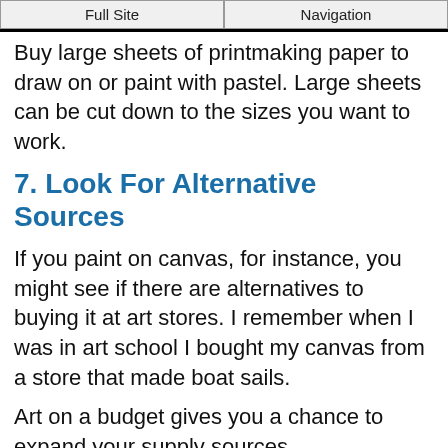Full Site | Navigation
Buy large sheets of printmaking paper to draw on or paint with pastel. Large sheets can be cut down to the sizes you want to work.
7. Look For Alternative Sources
If you paint on canvas, for instance, you might see if there are alternatives to buying it at art stores. I remember when I was in art school I bought my canvas from a store that made boat sails.
Art on a budget gives you a chance to expand your supply sources.